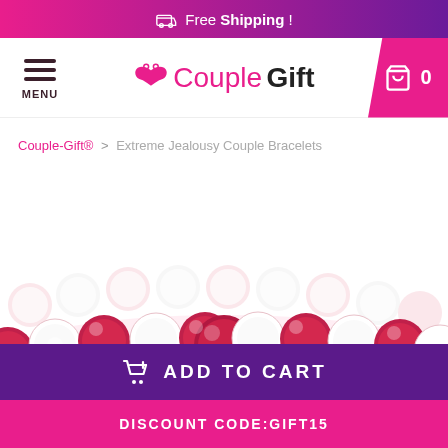Free Shipping !
[Figure (screenshot): Couple Gift logo with hamburger menu and shopping cart icon]
Couple-Gift® > Extreme Jealousy Couple Bracelets
[Figure (photo): Extreme Jealousy Couple Bracelets product photo showing red and white beaded bracelets]
ADD TO CART
DISCOUNT CODE:GIFT15